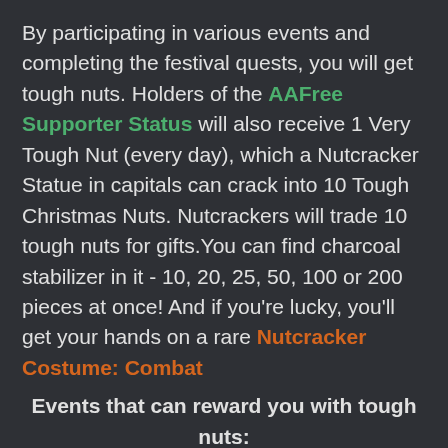By participating in various events and completing the festival quests, you will get tough nuts. Holders of the AAFree Supporter Status will also receive 1 Very Tough Nut (every day), which a Nutcracker Statue in capitals can crack into 10 Tough Christmas Nuts. Nutcrackers will trade 10 tough nuts for gifts.You can find charcoal stabilizer in it - 10, 20, 25, 50, 100 or 200 pieces at once! And if you're lucky, you'll get your hands on a rare Nutcracker Costume: Combat
Events that can reward you with tough nuts:
CR - x6 nuts for full quests;
GR - x6 nuts for full quests;
The Armies of Catigant/Clockwork Rebellion -x2 nuts for quests;
E... (Armies) different times for nuts - x2 nuts